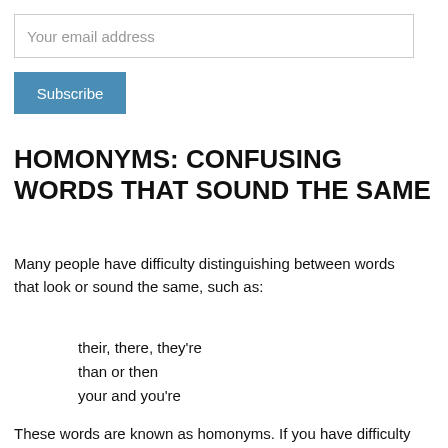[Figure (screenshot): Email address input field with placeholder text 'Your email address']
[Figure (screenshot): Blue Subscribe button]
HOMONYMS: CONFUSING WORDS THAT SOUND THE SAME
Many people have difficulty distinguishing between words that look or sound the same, such as:
their, there, they're
than or then
your and you're
These words are known as homonyms. If you have difficulty remembering the difference between these words, make up some memory jogs to help you.
Their, there, they're